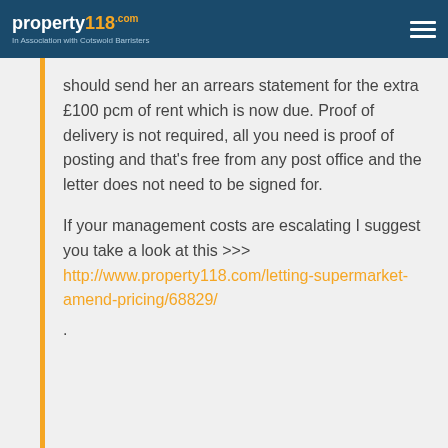property118.com — In Association with Cotswold Barristers
should send her an arrears statement for the extra £100 pcm of rent which is now due. Proof of delivery is not required, all you need is proof of posting and that's free from any post office and the letter does not need to be signed for.
If your management costs are escalating I suggest you take a look at this >>> http://www.property118.com/letting-supermarket-amend-pricing/68829/
.